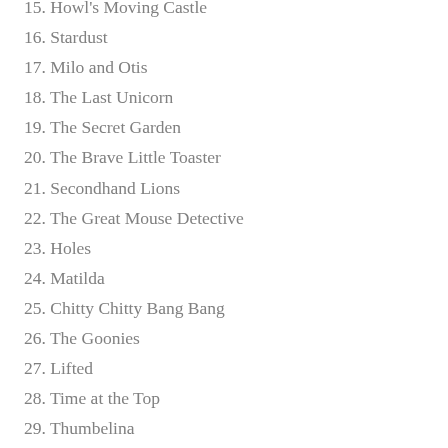15. Howl's Moving Castle
16. Stardust
17. Milo and Otis
18. The Last Unicorn
19. The Secret Garden
20. The Brave Little Toaster
21. Secondhand Lions
22. The Great Mouse Detective
23. Holes
24. Matilda
25. Chitty Chitty Bang Bang
26. The Goonies
27. Lifted
28. Time at the Top
29. Thumbelina
30. Arthur and the Invisibles
31. The Parent Trap (1961 version)
32. Annie
33. Hook